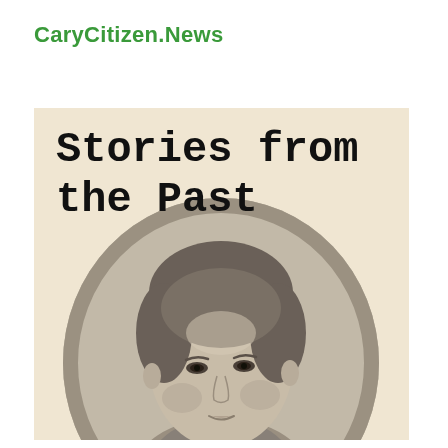CaryCitizen.News
[Figure (illustration): Book cover with cream/beige background showing the title 'Stories from the Past' in bold typewriter-style font, with an oval-framed vintage black-and-white portrait photograph of a young person from the 19th century.]